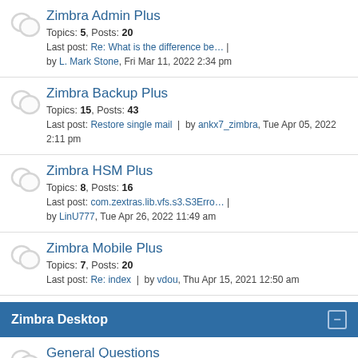Zimbra Admin Plus
Topics: 5, Posts: 20
Last post: Re: What is the difference be… | by L. Mark Stone, Fri Mar 11, 2022 2:34 pm
Zimbra Backup Plus
Topics: 15, Posts: 43
Last post: Restore single mail | by ankx7_zimbra, Tue Apr 05, 2022 2:11 pm
Zimbra HSM Plus
Topics: 8, Posts: 16
Last post: com.zextras.lib.vfs.s3.S3Erro… | by LinU777, Tue Apr 26, 2022 11:49 am
Zimbra Mobile Plus
Topics: 7, Posts: 20
Last post: Re: index | by vdou, Thu Apr 15, 2021 12:50 am
Zimbra Desktop
General Questions
Topics: 5635, Posts: 19035
Last post: Re: Mozilla Prism - Zimbra De… | by Cebrena0099, Wed Jul 20, 2022 6:18 am